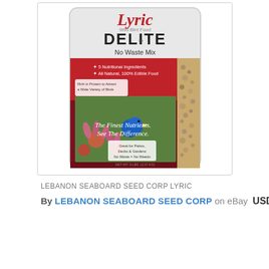[Figure (photo): Product photo of Lyric Delite No Waste Mix wild bird food bag. White and red bag showing a blue bird on echinacea flowers. Text on bag: Lyric, Wild Bird Food, DELITE, No Waste Mix, 5 Nutritional Ingredients, All Natural 100% Edible Food, Rich in Protein to Attract a Wide Variety of Birds, Great for Patios Decks & Gardens No Waste = No Weeds, The Finest Nutrients. See The Difference.]
LEBANON SEABOARD SEED CORP LYRIC
By LEBANON SEABOARD SEED CORP on eBay USD $24.88